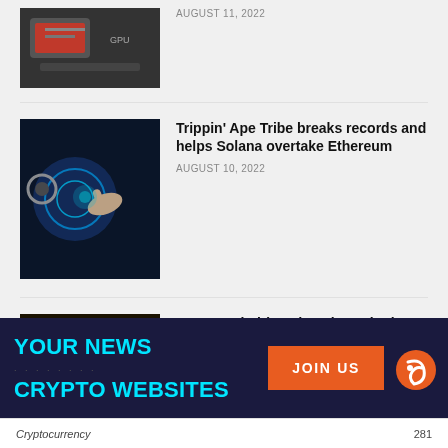[Figure (photo): Partial top article thumbnail - GPU/hardware image]
AUGUST 11, 2022
[Figure (photo): Digital technology image showing gears and glowing hand on blue background]
Trippin’ Ape Tribe breaks records and helps Solana overtake Ethereum
AUGUST 10, 2022
[Figure (photo): Nexus Dubai NXD payment gateway promotional image with golden logo on dark background]
Nexus Dubai (NXD) Project Obtains First Cryptocurrency Exchange License in Dubai
AUGUST 8, 2022
[Figure (infographic): Dark navy banner with YOUR NEWS / CRYPTO WEBSITES in cyan text, JOIN US orange button, and orange spiral icon]
Cryptocurrency  281